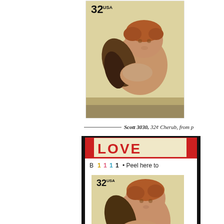[Figure (photo): US 32¢ Cherub stamp (Scott 3030) showing a Renaissance-style cherub angel with reddish-brown hair and dark wings, resting chin on hand]
Scott 3030, 32¢ Cherub, from p
[Figure (photo): Scott 3030 var booklet pane showing LOVE at top, plate number 'B 1 1 1 1 • Peel here to', and the 32¢ Cherub stamp with LOVE overlaid in red]
Scott 3030 var, 32¢ Cherub, re
[Figure (photo): Partial booklet pane showing plate number 'B 1 1 1 1 • Peel here to f' and partial LOVE text at bottom]